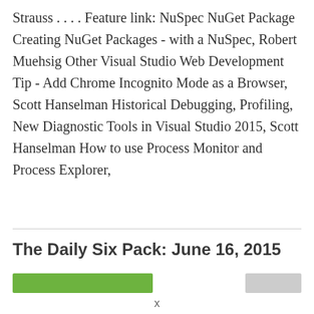Strauss . . . . Feature link: NuSpec NuGet Package Creating NuGet Packages - with a NuSpec, Robert Muehsig Other Visual Studio Web Development Tip - Add Chrome Incognito Mode as a Browser, Scott Hanselman Historical Debugging, Profiling, New Diagnostic Tools in Visual Studio 2015, Scott Hanselman How to use Process Monitor and Process Explorer,
The Daily Six Pack: June 16, 2015
[Figure (other): Green decorative bar and gray decorative bar below the section title]